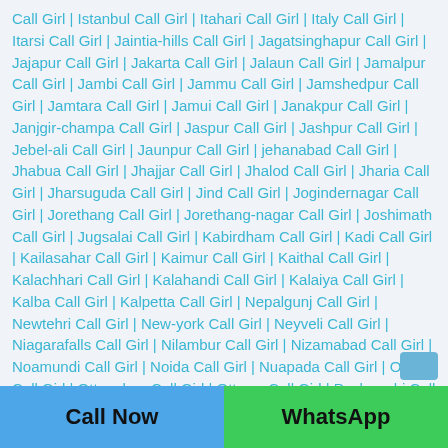Call Girl | Istanbul Call Girl | Itahari Call Girl | Italy Call Girl | Itarsi Call Girl | Jaintia-hills Call Girl | Jagatsinghapur Call Girl | Jajapur Call Girl | Jakarta Call Girl | Jalaun Call Girl | Jamalpur Call Girl | Jambi Call Girl | Jammu Call Girl | Jamshedpur Call Girl | Jamtara Call Girl | Jamui Call Girl | Janakpur Call Girl | Janjgir-champa Call Girl | Jaspur Call Girl | Jashpur Call Girl | Jebel-ali Call Girl | Jaunpur Call Girl | jehanabad Call Girl | Jhabua Call Girl | Jhajjar Call Girl | Jhalod Call Girl | Jharia Call Girl | Jharsuguda Call Girl | Jind Call Girl | Jogindernagar Call Girl | Jorethang Call Girl | Jorethang-nagar Call Girl | Joshimath Call Girl | Jugsalai Call Girl | Kabirdham Call Girl | Kadi Call Girl | Kailasahar Call Girl | Kaimur Call Girl | Kaithal Call Girl | Kalachhari Call Girl | Kalahandi Call Girl | Kalaiya Call Girl | Kalba Call Girl | Kalpetta Call Girl | Nepalgunj Call Girl | Newtehri Call Girl | New-york Call Girl | Neyveli Call Girl | Niagarafalls Call Girl | Nilambur Call Girl | Nizamabad Call Girl | Noamundi Call Girl | Noida Call Girl | Nuapada Call Girl | Orai Call Girl | Ottapalam Call Girl | Ottawa Call Girl | Pachmarhi Call Girl |
Call Now | WhatsApp